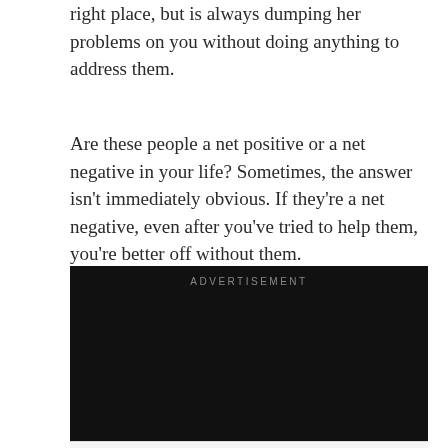right place, but is always dumping her problems on you without doing anything to address them.
Are these people a net positive or a net negative in your life? Sometimes, the answer isn't immediately obvious. If they're a net negative, even after you've tried to help them, you're better off without them.
[Figure (other): Advertisement banner (dark/black background) with label 'ADVERTISEMENT' at top]
[Figure (other): Ad banner at bottom showing 'Get In On The Buzz' by Smoothie King with play button, logo, navigation arrow icon, and waveform icon]